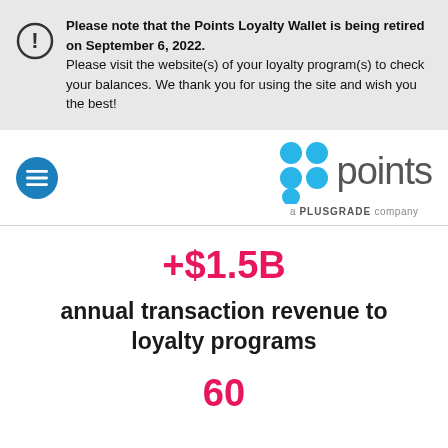Please note that the Points Loyalty Wallet is being retired on September 6, 2022. Please visit the website(s) of your loyalty program(s) to check your balances. We thank you for using the site and wish you the best!
[Figure (logo): Points logo with colored dots and 'a Plusgrade company' tagline]
+$1.5B
annual transaction revenue to loyalty programs
60